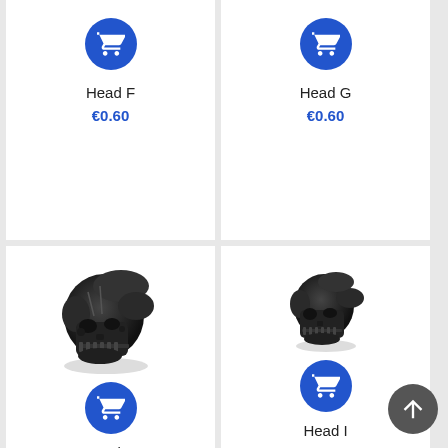[Figure (other): Shopping cart icon button (blue circle) for Head F]
Head F
€0.60
[Figure (other): Shopping cart icon button (blue circle) for Head G]
Head G
€0.60
[Figure (photo): Black miniature skull/helmet head piece (Head H), detailed sculpted surface facing left]
[Figure (other): Shopping cart icon button (blue circle) for Head H]
Head H
€0.60
[Figure (photo): Black miniature skull/helmet head piece (Head I), smaller and more compact, facing slightly left]
[Figure (other): Shopping cart icon button (blue circle) for Head I]
Head I
€0.60